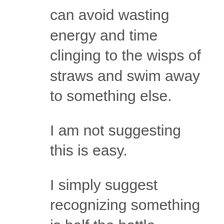can avoid wasting energy and time clinging to the wisps of straws and swim away to something else.
I am not suggesting this is easy.
I simply suggest recognizing something is half the battle.
I simply suggest we should not ignore the easy part because drowning is rarely sneaky.
Let me end with where I began – clinging to pieces of straws. We will be a little